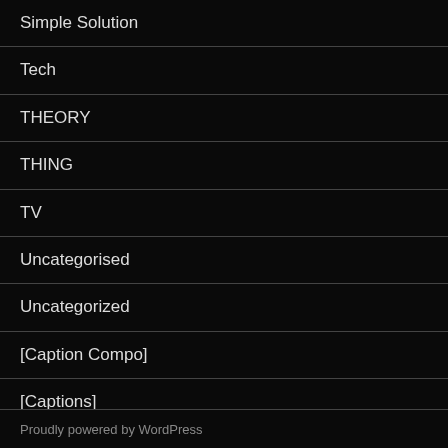Simple Solution
Tech
THEORY
THING
TV
Uncategorised
Uncategorized
[Caption Compo]
[Captions]
[Results]
Proudly powered by WordPress